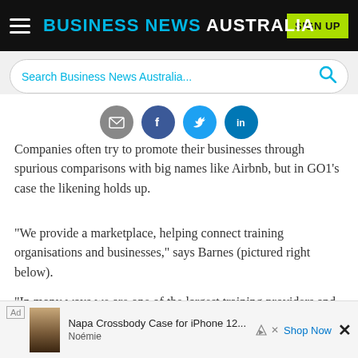BUSINESS NEWS AUSTRALIA | SIGN UP
[Figure (screenshot): Search bar with placeholder text 'Search Business News Australia...' and a blue search icon]
[Figure (infographic): Social share icons: email (grey), Facebook (dark blue), Twitter (light blue), LinkedIn (blue)]
Companies often try to promote their businesses through spurious comparisons with big names like Airbnb, but in GO1's case the likening holds up.
"We provide a marketplace, helping connect training organisations and businesses," says Barnes (pictured right below).
"In many ways we are one of the largest training providers and at the same time we don't create any training courses ourselves... [GO1 is] Australia's largest... single hotel you... courses...
[Figure (infographic): Advertisement banner: Napa Crossbody Case for iPhone 12... by Noémie with Shop Now button]